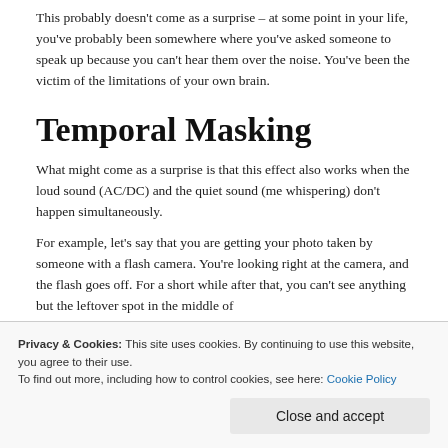This probably doesn't come as a surprise – at some point in your life, you've probably been somewhere where you've asked someone to speak up because you can't hear them over the noise. You've been the victim of the limitations of your own brain.
Temporal Masking
What might come as a surprise is that this effect also works when the loud sound (AC/DC) and the quiet sound (me whispering) don't happen simultaneously.
For example, let's say that you are getting your photo taken by someone with a flash camera. You're looking right at the camera, and the flash goes off. For a short while after that, you can't see anything but the leftover spot in the middle of
Similarly, if I were to fire a gun (not at you... don't worry),
Privacy & Cookies: This site uses cookies. By continuing to use this website, you agree to their use.
To find out more, including how to control cookies, see here: Cookie Policy
Close and accept